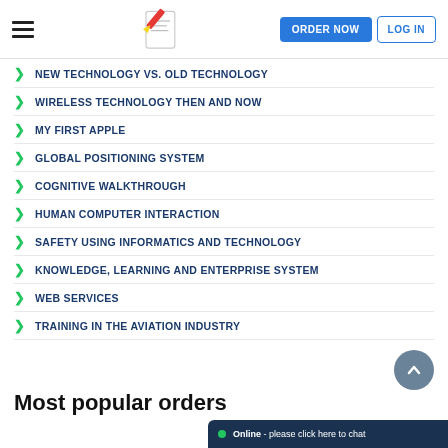ORDER NOW | LOG IN
NEW TECHNOLOGY VS. OLD TECHNOLOGY
WIRELESS TECHNOLOGY THEN AND NOW
MY FIRST APPLE
GLOBAL POSITIONING SYSTEM
COGNITIVE WALKTHROUGH
HUMAN COMPUTER INTERACTION
SAFETY USING INFORMATICS AND TECHNOLOGY
KNOWLEDGE, LEARNING AND ENTERPRISE SYSTEM
WEB SERVICES
TRAINING IN THE AVIATION INDUSTRY
Most popular orders
Online - please click here to chat